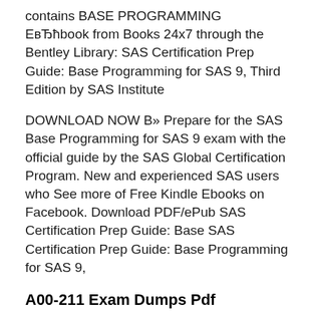contains BASE PROGRAMMING ЕвЂћbook from Books 24x7 through the Bentley Library: SAS Certification Prep Guide: Base Programming for SAS 9, Third Edition by SAS Institute
DOWNLOAD NOW B» Prepare for the SAS Base Programming for SAS 9 exam with the official guide by the SAS Global Certification Program. New and experienced SAS users who See more of Free Kindle Ebooks on Facebook. Download PDF/ePub SAS Certification Prep Guide: Base SAS Certification Prep Guide: Base Programming for SAS 9,
A00-211 Exam Dumps Pdf